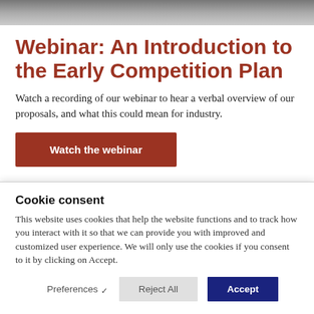[Figure (photo): Partial photo strip at top of page, blurred background image]
Webinar: An Introduction to the Early Competition Plan
Watch a recording of our webinar to hear a verbal overview of our proposals, and what this could mean for industry.
Watch the webinar
Cookie consent
This website uses cookies that help the website functions and to track how you interact with it so that we can provide you with improved and customized user experience. We will only use the cookies if you consent to it by clicking on Accept.
Preferences  Reject All  Accept